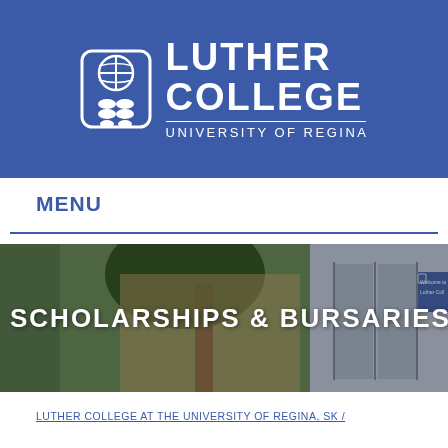[Figure (logo): Luther College at the University of Regina logo — white icon with globe/cross and seeds symbol on blue background, with text LUTHER COLLEGE and UNIVERSITY OF REGINA]
MENU
[Figure (photo): Wide banner photo of Luther College campus exterior showing trees, building entrance with glass doors, and a 'Welcome to Luther College' sign. Text overlay reads SCHOLARSHIPS & BURSARIES]
LUTHER COLLEGE AT THE UNIVERSITY OF REGINA, SK /